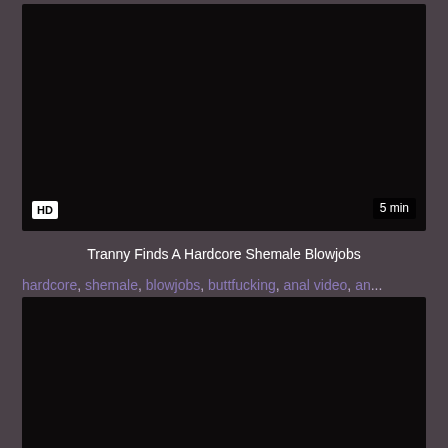[Figure (screenshot): Video thumbnail — black/dark background with HD badge bottom-left and '5 min' duration badge bottom-right]
Tranny Finds A Hardcore Shemale Blowjobs
hardcore, shemale, blowjobs, buttfucking, anal video, an...
[Figure (screenshot): Second video thumbnail — black/dark background, partially visible]